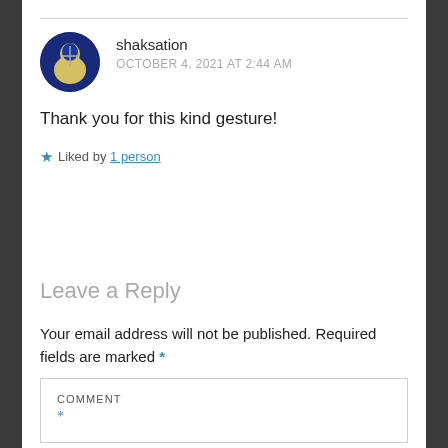[Figure (illustration): Circular avatar image of user shaksation showing a person in a blue and yellow outfit]
shaksation
OCTOBER 4, 2021 AT 2:44 AM
Thank you for this kind gesture!
★ Liked by 1 person
Leave a Reply
Your email address will not be published. Required fields are marked *
COMMENT *